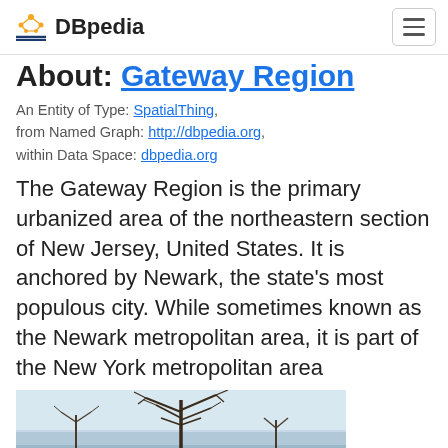DBpedia
About: Gateway Region
An Entity of Type: SpatialThing, from Named Graph: http://dbpedia.org, within Data Space: dbpedia.org
The Gateway Region is the primary urbanized area of the northeastern section of New Jersey, United States. It is anchored by Newark, the state's most populous city. While sometimes known as the Newark metropolitan area, it is part of the New York metropolitan area
[Figure (photo): Winter landscape photo showing bare trees against a grey sky with water or snowy ground in the background]